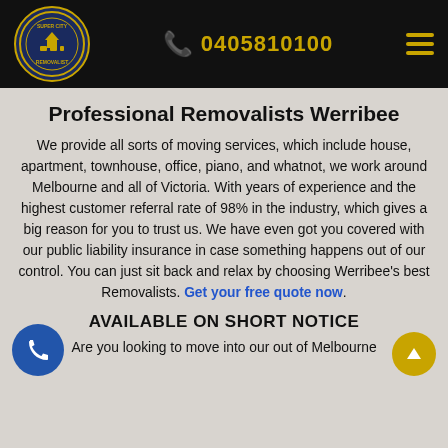Super City Removalist — 0405810100
Professional Removalists Werribee
We provide all sorts of moving services, which include house, apartment, townhouse, office, piano, and whatnot, we work around Melbourne and all of Victoria. With years of experience and the highest customer referral rate of 98% in the industry, which gives a big reason for you to trust us. We have even got you covered with our public liability insurance in case something happens out of our control. You can just sit back and relax by choosing Werribee's best Removalists. Get your free quote now.
AVAILABLE ON SHORT NOTICE
Are you looking to move into our out of Melbourne